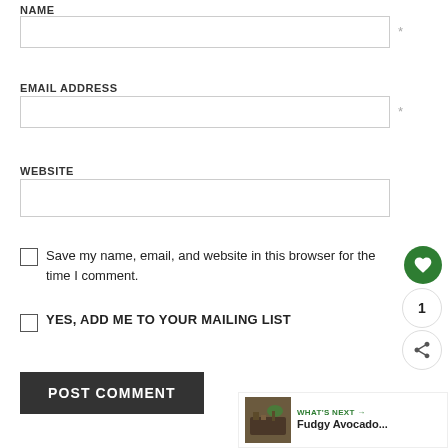NAME
EMAIL ADDRESS
WEBSITE
Save my name, email, and website in this browser for the time I comment.
YES, ADD ME TO YOUR MAILING LIST
POST COMMENT
1
WHAT'S NEXT → Fudgy Avocado...